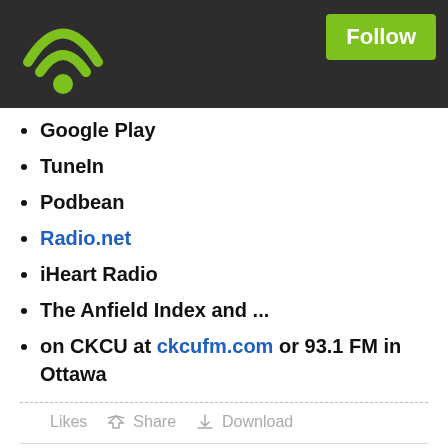[Figure (logo): Podbean wifi/podcast logo icon in green on dark header bar]
Google Play
TuneIn
Podbean
Radio.net
iHeart Radio
The Anfield Index and ...
on CKCU at ckcufm.com or 93.1 FM in Ottawa
Likes  Share  Download
Following
Play this podcast on Podbean App